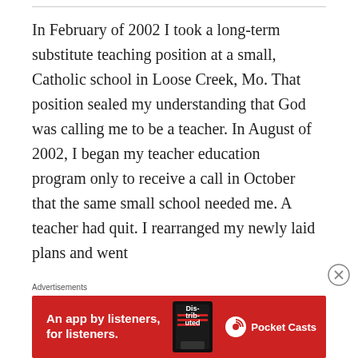In February of 2002 I took a long-term substitute teaching position at a small, Catholic school in Loose Creek, Mo. That position sealed my understanding that God was calling me to be a teacher. In August of 2002, I began my teacher education program only to receive a call in October that the same small school needed me. A teacher had quit. I rearranged my newly laid plans and went
Advertisements
[Figure (other): Advertisement banner for Pocket Casts app: red background with text 'An app by listeners, for listeners.' and Pocket Casts logo, alongside a phone graphic showing 'Distributed' text.]